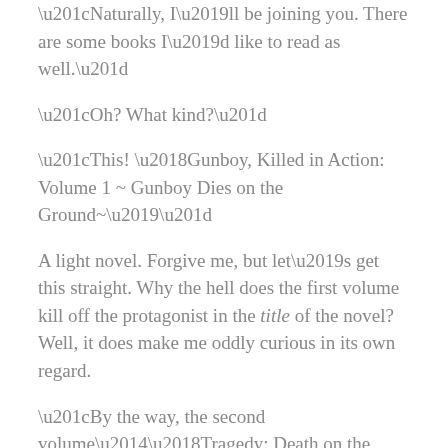“Naturally, I’ll be joining you. There are some books I’d like to read as well.”
“Oh? What kind?”
“This! ‘Gunboy, Killed in Action: Volume 1 ~ Gunboy Dies on the Ground~’”
A light novel. Forgive me, but let’s get this straight. Why the hell does the first volume kill off the protagonist in the title of the novel? Well, it does make me oddly curious in its own regard.
“By the way, the second volume—‘Tragedy: Death on the Battlefield’—and the third—‘Death by Chance’ are also masterpieces!”
“Don’t they all just die?”
I pushed down my sudden urge to read them and settled into one of the chairs. First, I’d like to research